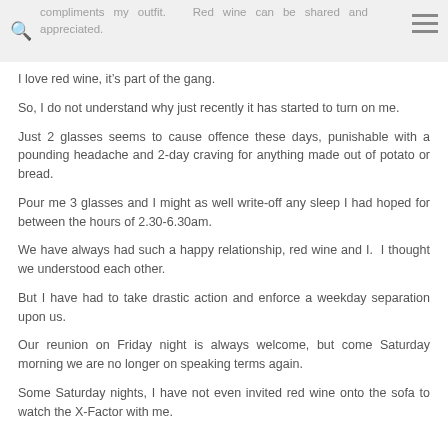compliments my outfit. Red wine can be shared and appreciated.
I love red wine, it’s part of the gang.
So, I do not understand why just recently it has started to turn on me.
Just 2 glasses seems to cause offence these days, punishable with a pounding headache and 2-day craving for anything made out of potato or bread.
Pour me 3 glasses and I might as well write-off any sleep I had hoped for between the hours of 2.30-6.30am.
We have always had such a happy relationship, red wine and I. I thought we understood each other.
But I have had to take drastic action and enforce a weekday separation upon us.
Our reunion on Friday night is always welcome, but come Saturday morning we are no longer on speaking terms again.
Some Saturday nights, I have not even invited red wine onto the sofa to watch the X-Factor with me.